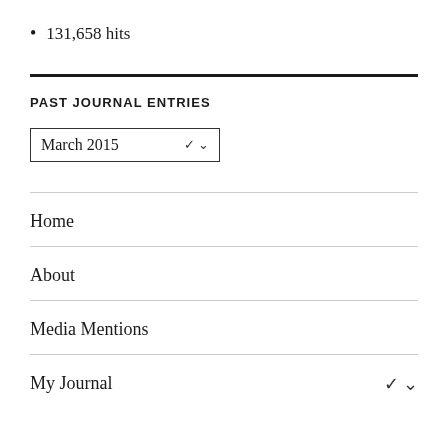131,658 hits
PAST JOURNAL ENTRIES
March 2015 [dropdown]
Home
About
Media Mentions
My Journal